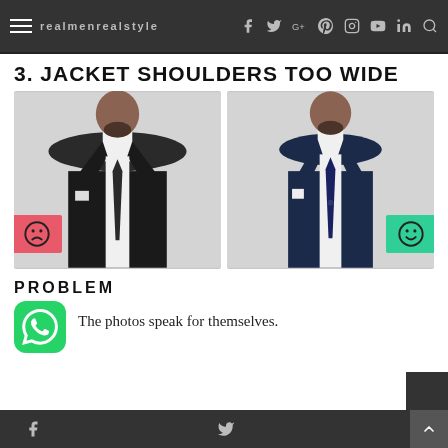3. Jacket Shoulders Too Wide - navigation bar with social icons
3. JACKET SHOULDERS TOO WIDE
[Figure (photo): Two side-by-side comparison photos of a man wearing a suit jacket. Left photo shows a black jacket with shoulders too wide (bad - marked with red sad face badge). Right photo shows a navy jacket with proper shoulder fit (good - marked with green happy face badge).]
PROBLEM
The photos speak for themselves.
Social share footer bar with Facebook and Twitter icons and scroll-to-top button